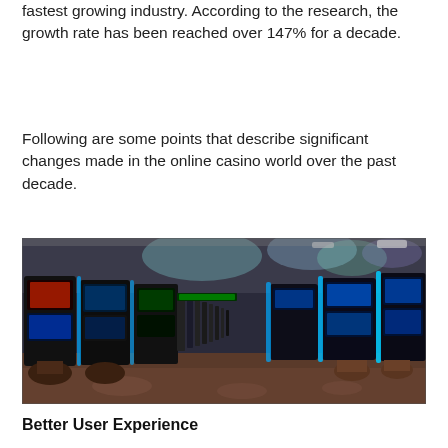fastest growing industry. According to the research, the growth rate has been reached over 147% for a decade.
Following are some points that describe significant changes made in the online casino world over the past decade.
[Figure (photo): Interior of a casino floor showing rows of slot machines with blue LED lighting on the right side and colorful overhead lights, viewed from a long corridor perspective.]
Better User Experience